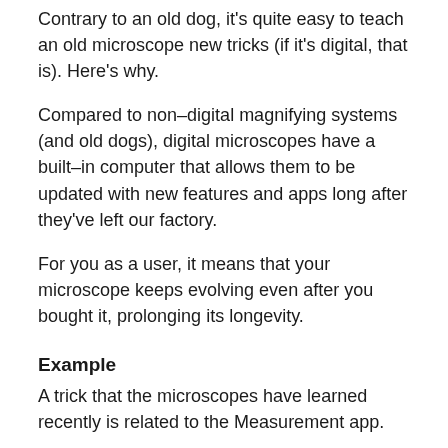Contrary to an old dog, it's quite easy to teach an old microscope new tricks (if it's digital, that is). Here's why.
Compared to non–digital magnifying systems (and old dogs), digital microscopes have a built–in computer that allows them to be updated with new features and apps long after they've left our factory.
For you as a user, it means that your microscope keeps evolving even after you bought it, prolonging its longevity.
Example
A trick that the microscopes have learned recently is related to the Measurement app.
With the app, users can perform highly accurate measurements directly on–screen, and the new addition allows them to save their measurements as an overlay that can be superimposed on future samples.